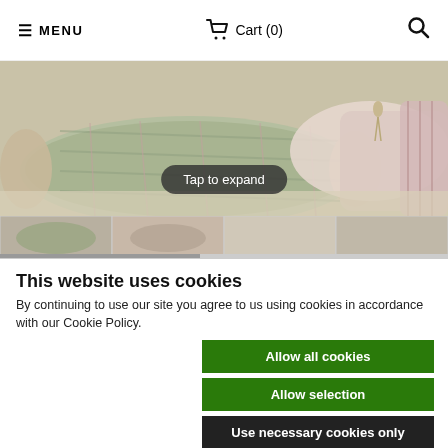MENU  Cart (0)  [search icon]
[Figure (photo): Decorative cushions/pillows with plaid and floral fabric patterns on a light background, with a 'Tap to expand' overlay button]
[Figure (photo): Thumbnail strip showing four small product images of decorative cushions]
This website uses cookies
By continuing to use our site you agree to us using cookies in accordance with our Cookie Policy.
Allow all cookies
Allow selection
Use necessary cookies only
Necessary  Preferences  Statistics  Marketing  Show details